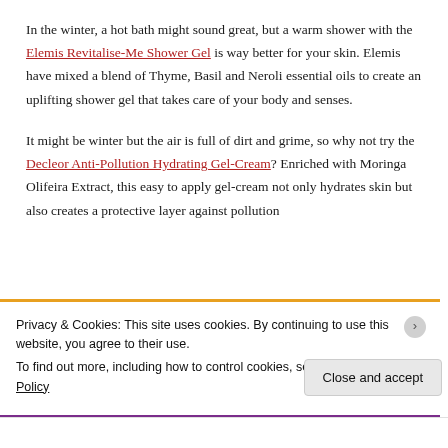In the winter, a hot bath might sound great, but a warm shower with the Elemis Revitalise-Me Shower Gel is way better for your skin. Elemis have mixed a blend of Thyme, Basil and Neroli essential oils to create an uplifting shower gel that takes care of your body and senses.
It might be winter but the air is full of dirt and grime, so why not try the Decleor Anti-Pollution Hydrating Gel-Cream? Enriched with Moringa Olifeira Extract, this easy to apply gel-cream not only hydrates skin but also creates a protective layer against pollution
Privacy & Cookies: This site uses cookies. By continuing to use this website, you agree to their use.
To find out more, including how to control cookies, see here: Cookie Policy